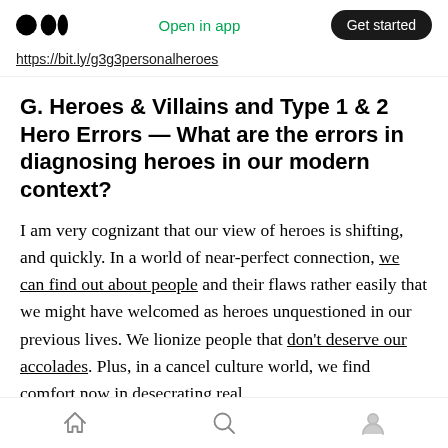Open in app | Get started
https://bit.ly/g3g3personalheroes
G. Heroes & Villains and Type 1 & 2 Hero Errors — What are the errors in diagnosing heroes in our modern context?
I am very cognizant that our view of heroes is shifting, and quickly. In a world of near-perfect connection, we can find out about people and their flaws rather easily that we might have welcomed as heroes unquestioned in our previous lives. We lionize people that don't deserve our accolades. Plus, in a cancel culture world, we find comfort now in desecrating real